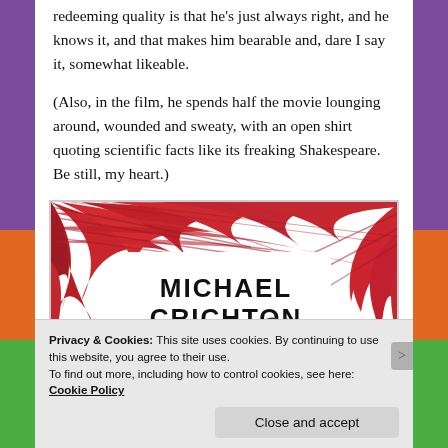redeeming quality is that he's just always right, and he knows it, and that makes him bearable and, dare I say it, somewhat likeable.
(Also, in the film, he spends half the movie lounging around, wounded and sweaty, with an open shirt quoting scientific facts like its freaking Shakespeare. Be still, my heart.)
[Figure (illustration): Book cover of a Michael Crichton novel showing red palm fronds and a dark dinosaur silhouette at the bottom with 'MICHAEL CRICHTON' in large black text.]
Privacy & Cookies: This site uses cookies. By continuing to use this website, you agree to their use.
To find out more, including how to control cookies, see here:
Cookie Policy
Close and accept